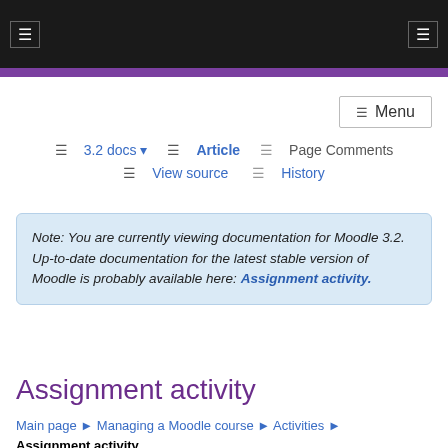☰  3.2 docs ▾   ☰  Article   ☰  Page Comments   ☰  View source   ☰  History
Note: You are currently viewing documentation for Moodle 3.2. Up-to-date documentation for the latest stable version of Moodle is probably available here: Assignment activity.
Assignment activity
Main page ► Managing a Moodle course ► Activities ► Assignment activity
ACTIVITIES